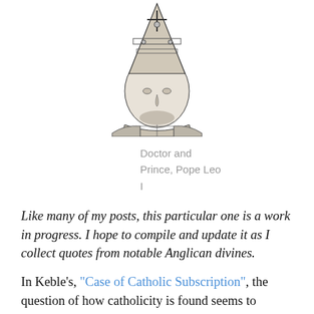[Figure (illustration): Black and white engraving of Pope Leo I in papal regalia, shown from shoulders up, wearing an ornate mitre and vestments]
Doctor and Prince, Pope Leo I
Like many of my posts, this particular one is a work in progress. I hope to compile and update it as I collect quotes from notable Anglican divines.
In Keble's, "Case of Catholic Subscription", the question of how catholicity is found seems to diverge in sleight yet critical ways from earlier definitions of orthodoxy.  While Anglican greats, alongside Keble, acknowledge the importance of Apostolic tradition in understanding Articles, Keble sounds generally more optimistic about the